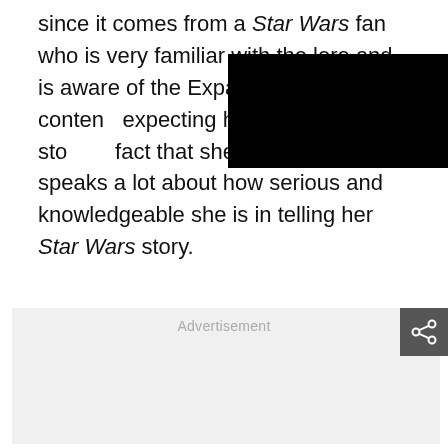since it comes from a Star Wars fan who is very familiar with the lore and is aware of the Expanded Universe content, expecting her to adapt stories, fact that she looked at the speaks a lot about how serious and knowledgeable she is in telling her Star Wars story.
[Figure (other): Black redacted rectangle overlay covering part of the text]
Advertisement